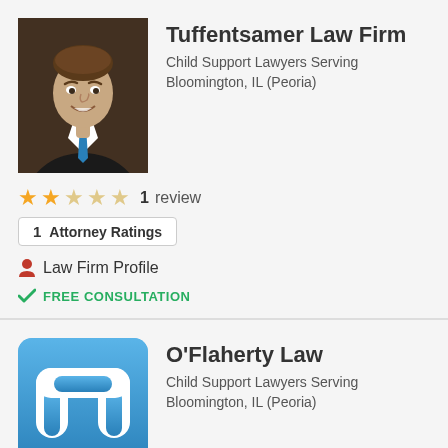[Figure (photo): Professional headshot of a man in a dark suit with a blue tie, smiling, dark background]
Tuffentsamer Law Firm
Child Support Lawyers Serving Bloomington, IL (Peoria)
★★☆☆☆  1  review
1  Attorney Ratings
Law Firm Profile
FREE CONSULTATION
[Figure (logo): O'Flaherty Law logo — blue rounded rectangle background with white stylized letter O in the center]
O'Flaherty Law
Child Support Lawyers Serving Bloomington, IL (Peoria)